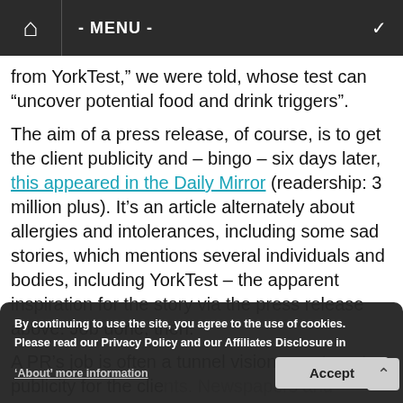HOME | - MENU -
from YorkTest," we were told, whose test can "uncover potential food and drink triggers".
The aim of a press release, of course, is to get the client publicity and – bingo – six days later, this appeared in the Daily Mirror (readership: 3 million plus). It's an article alternately about allergies and intolerances, including some sad stories, which mentions several individuals and bodies, including YorkTest – the apparent inspiration for the story via the press release above. Job done, then.
A PR's job is often a tunnel vision one: to get publicity for the client. Newspapers and magazines are filled these days with material sourced from or inspired by press releases,
By continuing to use the site, you agree to the use of cookies. Please read our Privacy Policy and our Affiliates Disclosure in 'About' more information Accept